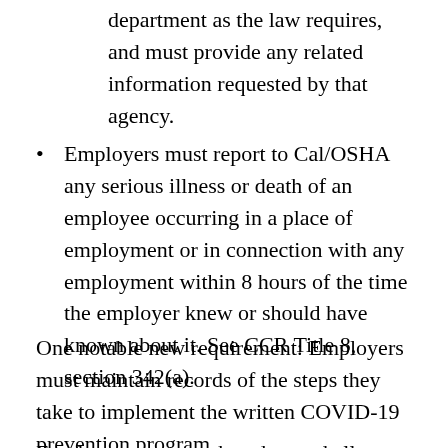department as the law requires, and must provide any related information requested by that agency.
Employers must report to Cal/OSHA any serious illness or death of an employee occurring in a place of employment or in connection with any employment within 8 hours of the time the employer knew or should have known about it. See CCR Title 8, section 342(a).
One notable new requirement: Employers must maintain records of the steps they take to implement the written COVID-19 prevention program.
Employers must track and record all